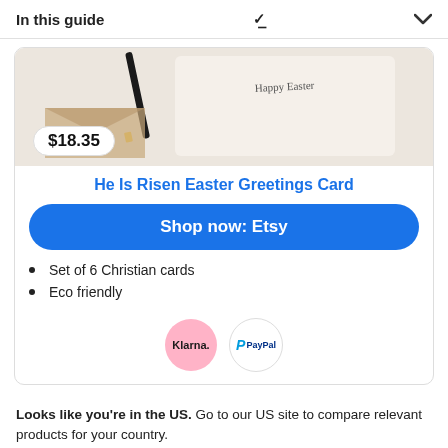In this guide
[Figure (photo): Product photo of an Easter greeting card with pencil and kraft paper packaging, price badge showing $18.35]
He Is Risen Easter Greetings Card
Shop now: Etsy
Set of 6 Christian cards
Eco friendly
[Figure (logo): Klarna and PayPal payment logo circles]
Looks like you're in the US. Go to our US site to compare relevant products for your country.
Go to Finder US
No, stay on this page